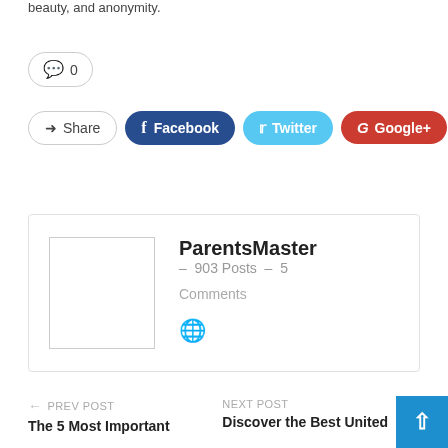beauty, and anonymity.
💬 0
Share  Facebook  Twitter  Google+  +
ParentsMaster  –  903 Posts  –  5 Comments
🌐
← PREV POST  The 5 Most Important
NEXT POST  Discover the Best United